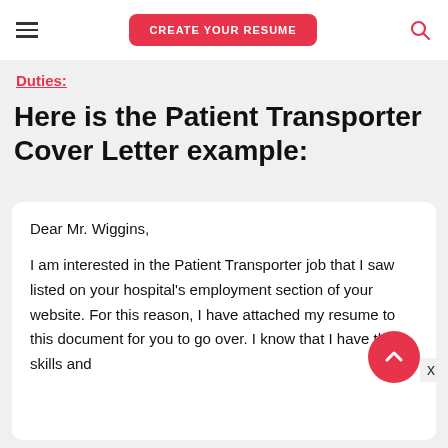CREATE YOUR RESUME
Duties:
Here is the Patient Transporter Cover Letter example:
Dear Mr. Wiggins,

I am interested in the Patient Transporter job that I saw listed on your hospital's employment section of your website. For this reason, I have attached my resume to this document for you to go over. I know that I have the skills and